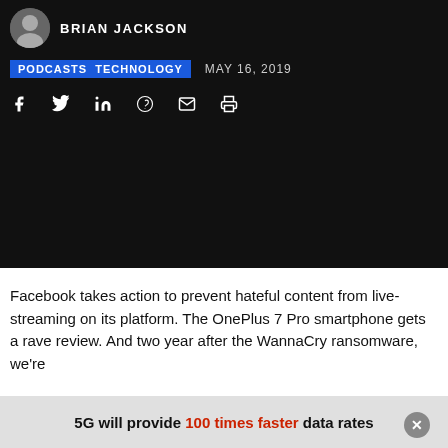BRIAN JACKSON
PODCASTS TECHNOLOGY   MAY 16, 2019
[Figure (other): Social sharing icons: Facebook, Twitter, LinkedIn, Reddit, Email, Print on dark background]
Facebook takes action to prevent hateful content from live-streaming on its platform. The OnePlus 7 Pro smartphone gets a rave review. And two year after the WannaCry ransomware, we're
5G will provide 100 times faster data rates